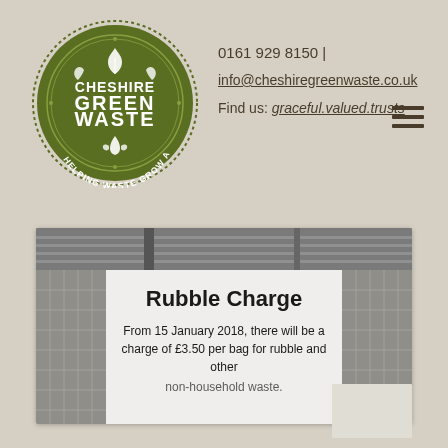[Figure (logo): Cheshire Green Waste circular logo in dark olive green with text 'CHESHIRE GREEN WASTE' and tagline 'HELPING WASTE GROW AGAIN']
0161 929 8150 |
info@cheshiregreenwaste.co.uk
Find us: graceful.valued.trusts
[Figure (photo): Photo of a sign reading 'Rubble Charge - From 15 January 2018, there will be a charge of £3.50 per bag for rubble and other non-household waste' mounted on or near a wire fence]
Rubble Charge
From 15 January 2018, there will be a charge of £3.50 per bag for rubble and other non-household waste.